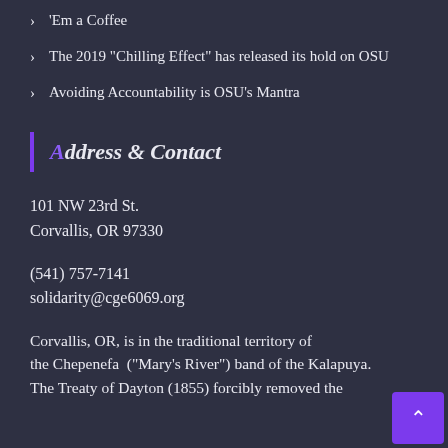'Em a Coffee
The 2019 “Chilling Effect” has released its hold on OSU
Avoiding Accountability is OSU’s Mantra
Address & Contact
101 NW 23rd St.
Corvallis, OR 97330
(541) 757-7141
solidarity@cge6069.org
Corvallis, OR, is in the traditional territory of the Chepenefa  (“Mary’s River”) band of the Kalapuya. The Treaty of Dayton (1855) forcibly removed the Kalapuya...